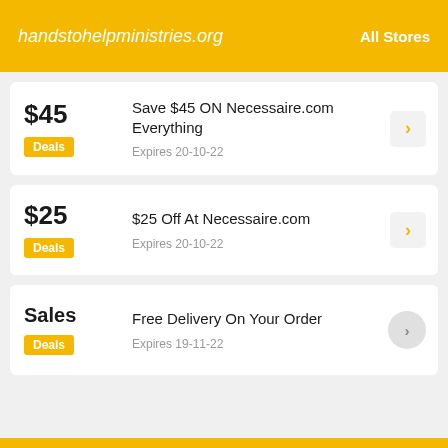handstohelpministries.org  All Stores
$45 — Save $45 ON Necessaire.com Everything — Expires 20-10-22 — Deals
$25 — $25 Off At Necessaire.com — Expires 20-10-22 — Deals
Sales — Free Delivery On Your Order — Expires 19-11-22 — Deals